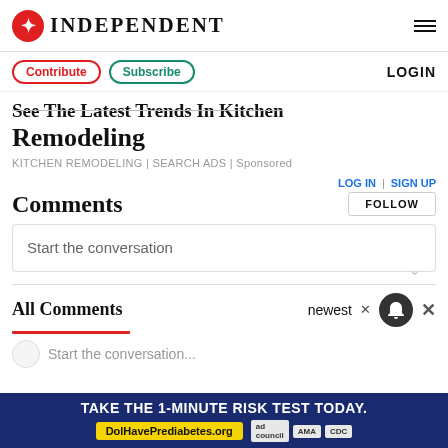INDEPENDENT
Contribute | Subscribe | LOGIN
See The Latest Trends In Kitchen Remodeling
KITCHEN REMODELING | SEARCH ADS | Sponsored
LOG IN | SIGN UP
Comments
FOLLOW
Start the conversation
All Comments
newest
TAKE THE 1-MINUTE RISK TEST TODAY. DolHavePrediabetes.org